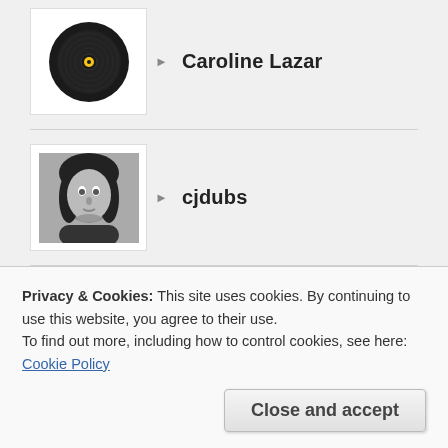Caroline Lazar
cjdubs
cristobalsaez
cwaleko
Privacy & Cookies: This site uses cookies. By continuing to use this website, you agree to their use.
To find out more, including how to control cookies, see here: Cookie Policy
Close and accept